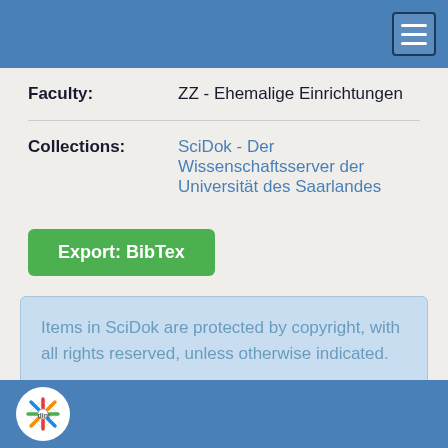Navigation menu header bar
| Faculty: | ZZ - Ehemalige Einrichtungen |
| Collections: | SciDok - Der Wissenschaftsserver der Universität des Saarlandes |
Export: BibTex
Items in SciDok are protected by copyright, with all rights reserved, unless otherwise indicated.
Footer with logo